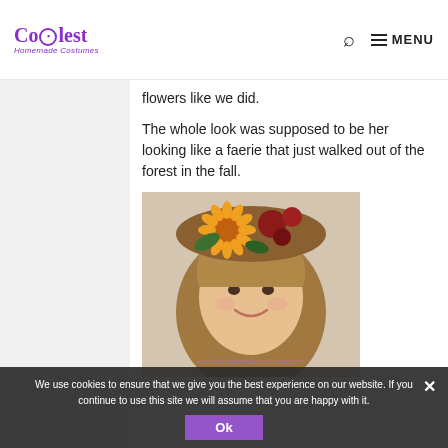Coolest Homemade Costumes — MENU
flowers like we did.
The whole look was supposed to be her looking like a faerie that just walked out of the forest in the fall.
[Figure (photo): Young girl smiling, wearing a crown of fall flowers including sunflowers and autumn-colored blooms on her head. Watermark reads coolest-homemade-costumes.com]
We use cookies to ensure that we give you the best experience on our website. If you continue to use this site we will assume that you are happy with it.
Ok